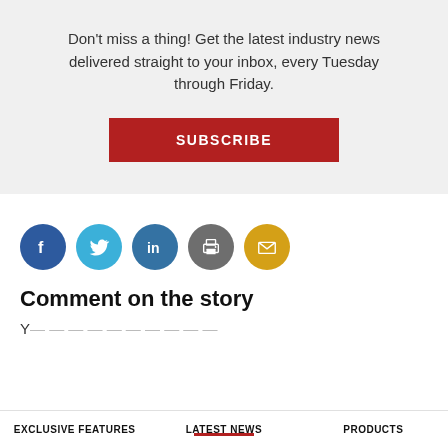Don't miss a thing! Get the latest industry news delivered straight to your inbox, every Tuesday through Friday.
[Figure (other): Red SUBSCRIBE button]
[Figure (other): Social media icons: Facebook, Twitter, LinkedIn, Print, Email]
Comment on the story
Y...
EXCLUSIVE FEATURES   LATEST NEWS   PRODUCTS